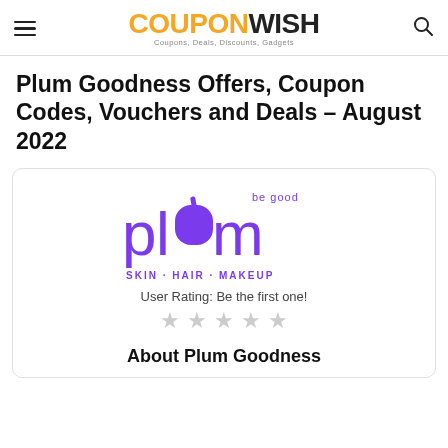COUPONWISH - Coupons, Deals, Discounts, Gadgets
Plum Goodness Offers, Coupon Codes, Vouchers and Deals - August 2022
[Figure (logo): Plum Goodness logo with purple text 'be good plum' and tagline 'SKIN · HAIR · MAKEUP']
User Rating: Be the first one!
About Plum Goodness